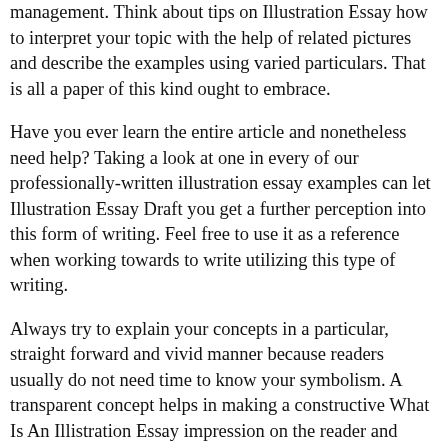management. Think about tips on Illustration Essay how to interpret your topic with the help of related pictures and describe the examples using varied particulars. That is all a paper of this kind ought to embrace.
Have you ever learn the entire article and nonetheless need help? Taking a look at one in every of our professionally-written illustration essay examples can let Illustration Essay Draft you get a further perception into this form of writing. Feel free to use it as a reference when working towards to write utilizing this type of writing.
Always try to explain your concepts in a particular, straight forward and vivid manner because readers usually do not need time to know your symbolism. A transparent concept helps in making a constructive What Is An Illistration Essay impression on the reader and generate an emotional response in them. One of the simplest ways to be exact in writing your idea is to make use of your own expertise and target it in the direction of your topic.